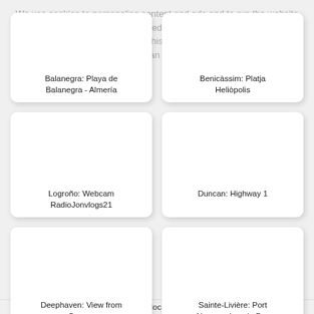We use cookies to personalise content and ads and to run the website free of charge. We share limited data with our advertising and analytics partners to help us run this website better. Read more about the use of cookies and how you can control your cookie settings here -
[Figure (other): Card: Balanegra: Playa de Balanegra - Almería]
[Figure (other): Card: Benicàssim: Platja Heliòpolis]
[Figure (other): Card: Logroño: Webcam RadioJonvlogs21]
[Figure (other): Card: Duncan: Highway 1]
[Figure (other): Card: Deephaven: View from Squam]
[Figure (other): Card: Sainte-Livière: Port Nemour, Lac du Der]
Hotel and holiday home search (single-location cameras)